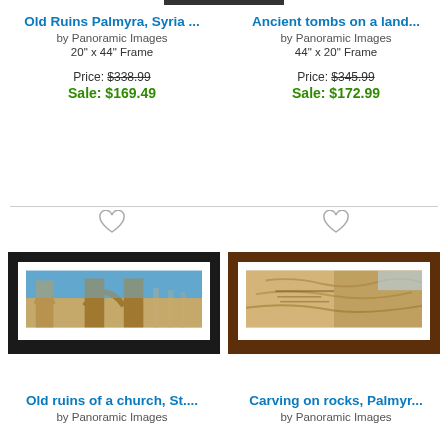Old Ruins Palmyra, Syria ...
by Panoramic Images
20" x 44" Frame
Price: $338.99
Sale: $169.49
Ancient tombs on a land...
by Panoramic Images
44" x 20" Frame
Price: $345.99
Sale: $172.99
[Figure (photo): Framed panoramic photo of old ruins with arches in Palmyra, Syria, black frame]
[Figure (photo): Framed panoramic photo of ancient stone carvings on rocks in Palmyra, brown frame]
Old ruins of a church, St....
by Panoramic Images
Carving on rocks, Palmyr...
by Panoramic Images